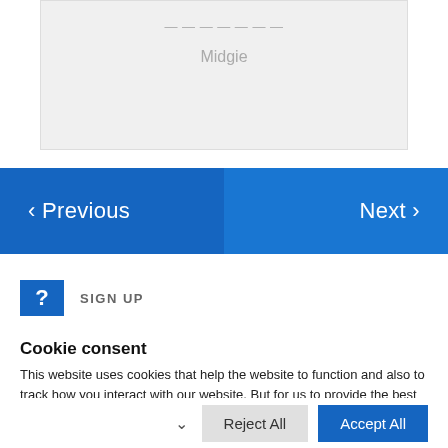[Figure (screenshot): Gray box with faded text at top and the name 'Midgie' shown in gray]
‹ Previous
Next ›
SIGN UP
Cookie consent
This website uses cookies that help the website to function and also to track how you interact with our website. But for us to provide the best user experience, enable the specific cookies from Settings, and click on Accept. Read More
Reject All
Accept All